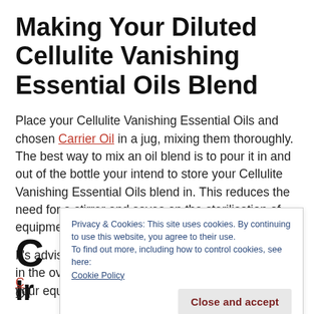Making Your Diluted Cellulite Vanishing Essential Oils Blend
Place your Cellulite Vanishing Essential Oils and chosen Carrier Oil in a jug, mixing them thoroughly. The best way to mix an oil blend is to pour it in and out of the bottle your intend to store your Cellulite Vanishing Essential Oils blend in. This reduces the need for a stirrer and saves on the sterilisation of equipment.
It's advised to use sterilised equipment. Either bake in the over at a high heat for ten minutes, or boil your equipment in boiling water for ten minutes.
Privacy & Cookies: This site uses cookies. By continuing to use this website, you agree to their use.
To find out more, including how to control cookies, see here:
Cookie Policy
[Close and accept]